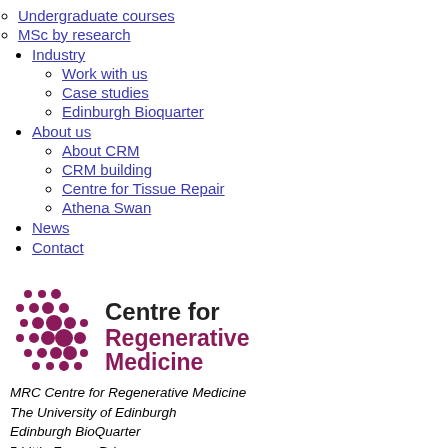Undergraduate courses
MSc by research
Industry
Work with us
Case studies
Edinburgh Bioquarter
About us
About CRM
CRM building
Centre for Tissue Repair
Athena Swan
News
Contact
[Figure (logo): Centre for Regenerative Medicine logo with dot pattern and text]
MRC Centre for Regenerative Medicine
The University of Edinburgh
Edinburgh BioQuarter
5 Little France Drive
Edinburgh
EH16 4UU